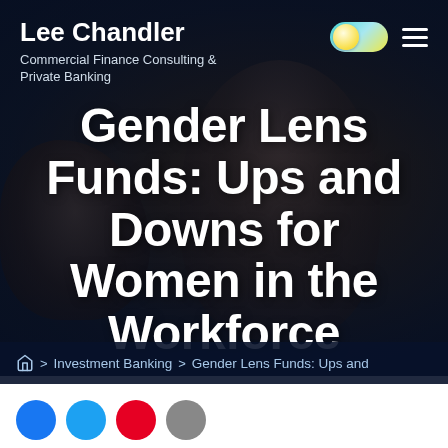Lee Chandler
Commercial Finance Consulting & Private Banking
[Figure (photo): Dark-toned hero image of a woman working on a laptop, with a child in the background, overlaid with dark gradient]
Gender Lens Funds: Ups and Downs for Women in the Workforce
4 MIN READ
Home > Investment Banking > Gender Lens Funds: Ups and
[Figure (other): Social media share buttons: Facebook, Twitter, Pinterest, Email]